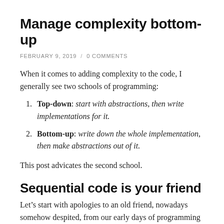Manage complexity bottom-up
FEBRUARY 9, 2019 / 0 COMMENTS
When it comes to adding complexity to the code, I generally see two schools of programming:
Top-down: start with abstractions, then write implementations for it.
Bottom-up: write down the whole implementation, then make abstractions out of it.
This post advicates the second school.
Sequential code is your friend
Let's start with apologies to an old friend, nowadays somehow despited, from our early days of programming